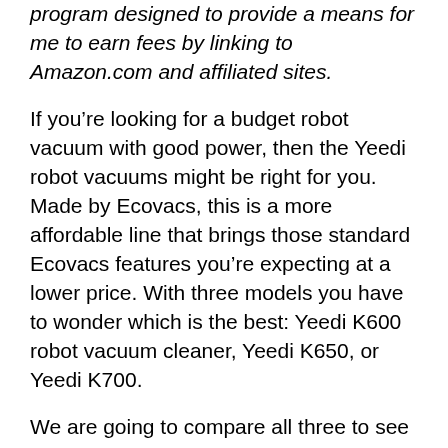program designed to provide a means for me to earn fees by linking to Amazon.com and affiliated sites.
If you’re looking for a budget robot vacuum with good power, then the Yeedi robot vacuums might be right for you. Made by Ecovacs, this is a more affordable line that brings those standard Ecovacs features you’re expecting at a lower price. With three models you have to wonder which is the best: Yeedi K600 robot vacuum cleaner, Yeedi K650, or Yeedi K700.
We are going to compare all three to see which is the best bang for your buck. We’ll be comparing these in navigation, hard floors, carpets, battery life, and software.